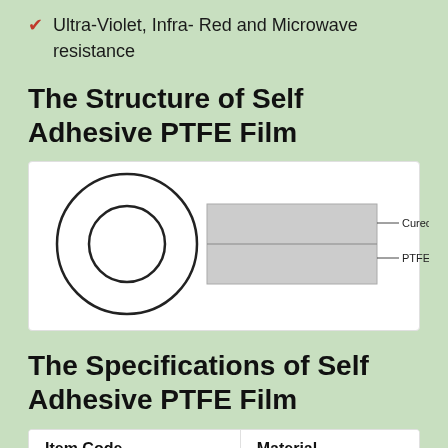Ultra-Violet, Infra- Red and Microwave resistance
The Structure of Self Adhesive PTFE Film
[Figure (schematic): Cross-section diagram of a roll of self-adhesive PTFE film. Left side shows a circular roll (seen from the end). Right side shows an unrolled section as a layered rectangle with two labeled layers: 'Cured Silicone' (top) and 'PTFE Film' (bottom), with lines pointing to each layer.]
The Specifications of Self Adhesive PTFE Film
| Item Code | Material |
| --- | --- |